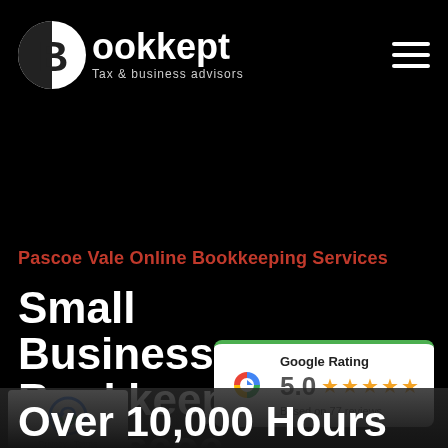[Figure (logo): Bookkept logo with circular icon and text 'Bookkept Tax & business advisors']
Pascoe Vale Online Bookkeeping Services
Small Business Bookkeepers in Pascoe Vale
[Figure (infographic): Google Rating badge showing 5.0 stars based on 77 reviews with green top border]
[Figure (other): reCAPTCHA badge with Privacy - Terms text]
Over 10,000 Hours